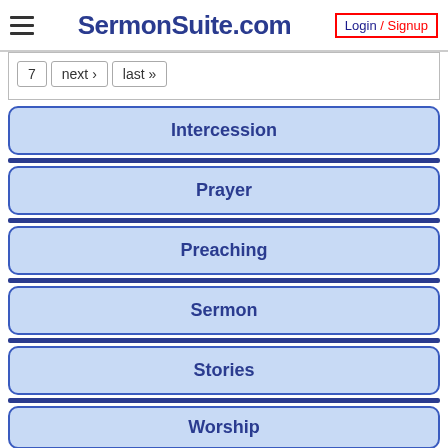SermonSuite.com | Login / Signup
7  next ›  last »
Intercession
Prayer
Preaching
Sermon
Stories
Worship